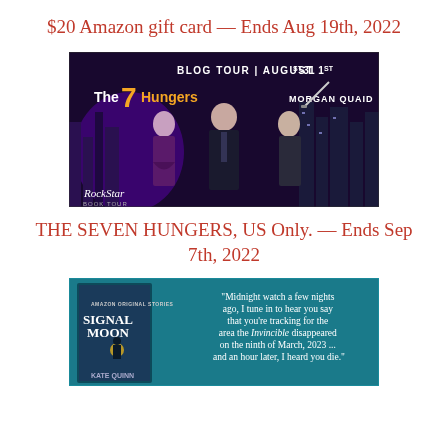$20 Amazon gift card — Ends Aug 19th, 2022
[Figure (illustration): Blog Tour banner for 'The 7 Hungers' by Morgan Quaid, August 1st-31st, showing three illustrated characters against a dark purple cityscape. Bottom left shows 'RockStar' text. Left character is a woman in purple, center is a man in a suit, right is a man holding a sword.]
THE SEVEN HUNGERS, US Only. — Ends Sep 7th, 2022
[Figure (illustration): Book cover banner for 'Signal Moon' by Kate Quinn, with a teal/dark blue background showing the book cover on the left and a quote on the right: 'Midnight watch a few nights ago, I tune in to hear you say that you're tracking for the area the Invincible disappeared on the ninth of March, 2023 ... and an hour later, I heard you die.']